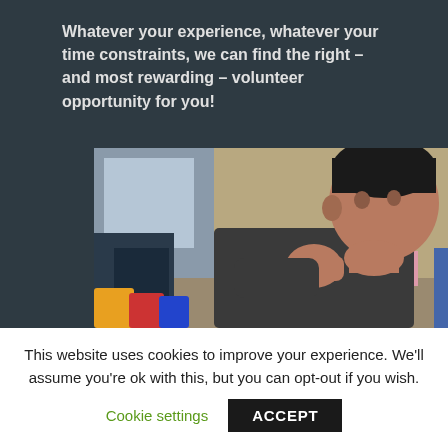Whatever your experience, whatever your time constraints, we can find the right – and most rewarding – volunteer opportunity for you!
[Figure (photo): A man resting his chin on his fist looking thoughtful, with a woman and child in the background in a home setting]
This website uses cookies to improve your experience. We'll assume you're ok with this, but you can opt-out if you wish.
Cookie settings   ACCEPT